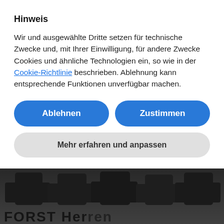Hinweis
Wir und ausgewählte Dritte setzen für technische Zwecke und, mit Ihrer Einwilligung, für andere Zwecke Cookies und ähnliche Technologien ein, so wie in der Cookie-Richtlinie beschrieben. Ablehnung kann entsprechende Funktionen unverfügbar machen.
Ablehnen
Zustimmen
Mehr erfahren und anpassen
[Figure (photo): Dark photograph showing sweater/knitwear silhouettes with text 'FORST Herren' partially visible at bottom]